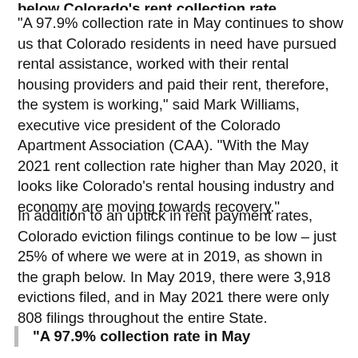“A 97.9% collection rate in May continues to show us that Colorado residents in need have pursued rental assistance, worked with their rental housing providers and paid their rent, therefore, the system is working,” said Mark Williams, executive vice president of the Colorado Apartment Association (CAA). “With the May 2021 rent collection rate higher than May 2020, it looks like Colorado’s rental housing industry and economy are moving towards recovery.”
In addition to an uptick in rent payment rates, Colorado eviction filings continue to be low – just 25% of where we were at in 2019, as shown in the graph below. In May 2019, there were 3,918 evictions filed, and in May 2021 there were only 808 filings throughout the entire State.
“A 97.9% collection rate in May